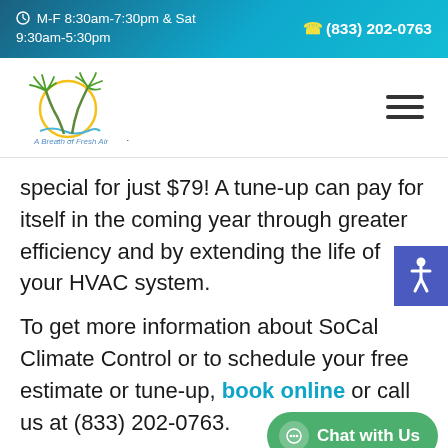M-F 8:30am-7:30pm & Sat 9:30am-5:30pm  (833) 202-0763
[Figure (logo): SoCal Climate Control logo with palm trees and sun, tagline 'A Breath of Fresh Air']
special for just $79! A tune-up can pay for itself in the coming year through greater efficiency and by extending the life of your HVAC system.
To get more information about SoCal Climate Control or to schedule your free estimate or tune-up, book online or call us at (833) 202-0763.